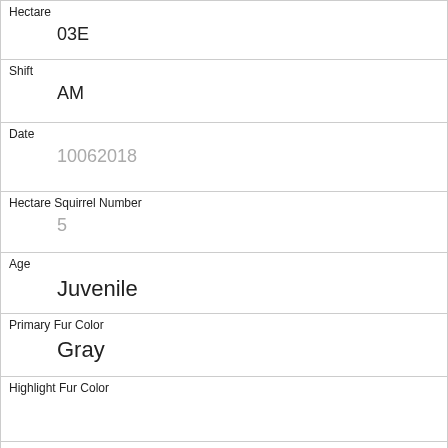| Hectare | 03E |
| Shift | AM |
| Date | 10062018 |
| Hectare Squirrel Number | 5 |
| Age | Juvenile |
| Primary Fur Color | Gray |
| Highlight Fur Color |  |
| Combination of Primary and Highlight Color | Gray+ |
| Color notes |  |
| Location | Ground Plane |
| Above Ground Sighter Measurement |  |